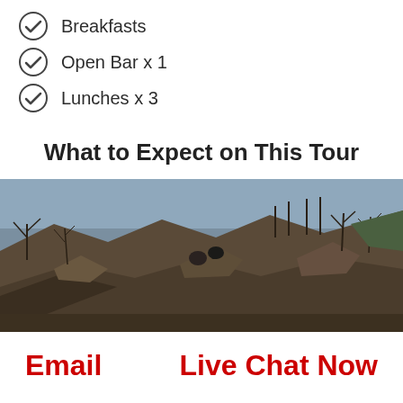Breakfasts
Open Bar x 1
Lunches x 3
What to Expect on This Tour
[Figure (photo): Outdoor rocky terrain with bare trees and people on a hillside, muted earthy tones with some blue sky]
Email
Live Chat Now